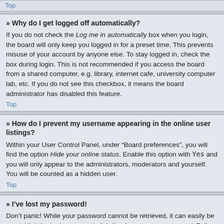Top
» Why do I get logged off automatically?
If you do not check the Log me in automatically box when you login, the board will only keep you logged in for a preset time. This prevents misuse of your account by anyone else. To stay logged in, check the box during login. This is not recommended if you access the board from a shared computer, e.g. library, internet cafe, university computer lab, etc. If you do not see this checkbox, it means the board administrator has disabled this feature.
Top
» How do I prevent my username appearing in the online user listings?
Within your User Control Panel, under “Board preferences”, you will find the option Hide your online status. Enable this option with Yes and you will only appear to the administrators, moderators and yourself. You will be counted as a hidden user.
Top
» I've lost my password!
Don’t panic! While your password cannot be retrieved, it can easily be reset. Visit the login page and click I've forgotten my password. Follow the instructions and you should be able to log in again shortly.
Top